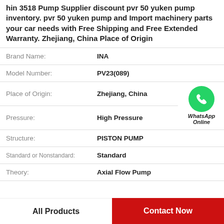hin 3518 Pump Supplier discount pvr 50 yuken pump inventory. pvr 50 yuken pump and Import machinery parts your car needs with Free Shipping and Free Extended Warranty. Zhejiang, China Place of Origin
| Attribute | Value |
| --- | --- |
| Brand Name: | INA |
| Model Number: | PV23(089) |
| Place of Origin: | Zhejiang, China |
| Pressure: | High Pressure |
| Structure: | PISTON PUMP |
| Standard or Nonstandard: | Standard |
| Theory: | Axial Flow Pump |
[Figure (logo): WhatsApp Online green phone icon with text 'WhatsApp Online']
All Products
Contact Now